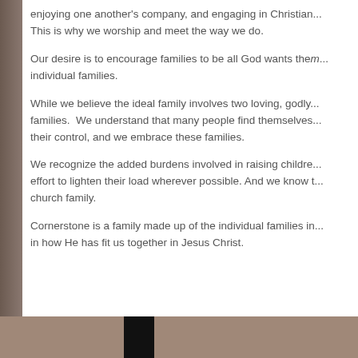enjoying one another's company, and engaging in Christian... This is why we worship and meet the way we do.
Our desire is to encourage families to be all God wants them... individual families.
While we believe the ideal family involves two loving, godly... families. We understand that many people find themselves... their control, and we embrace these families.
We recognize the added burdens involved in raising childre... effort to lighten their load wherever possible. And we know t... church family.
Cornerstone is a family made up of the individual families in... in how He has fit us together in Jesus Christ.
[Figure (photo): Brown/warm-toned photo strip at bottom of page with a dark vertical bar in the center]